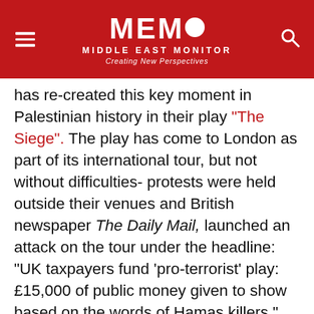MEMO Middle East Monitor — Creating New Perspectives
has re-created this key moment in Palestinian history in their play "The Siege". The play has come to London as part of its international tour, but not without difficulties- protests were held outside their venues and British newspaper The Daily Mail, launched an attack on the tour under the headline: "UK taxpayers fund 'pro-terrorist' play: £15,000 of public money given to show based on the words of Hamas killers."
However, attempts to place a dampener on the group's UK tour failed and on the opening night in London on Tuesday, the theatre